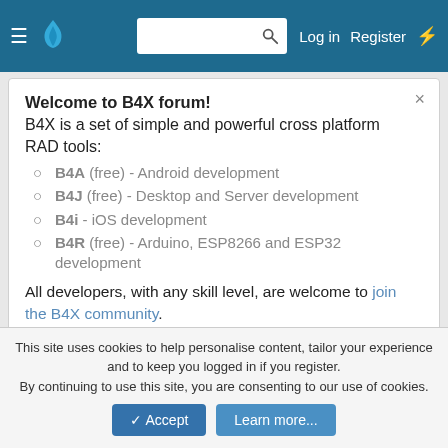B4X Forum navigation bar with hamburger menu, logo, search box, Log in, Register, and flash icon
Welcome to B4X forum!
B4X is a set of simple and powerful cross platform RAD tools:
B4A (free) - Android development
B4J (free) - Desktop and Server development
B4i - iOS development
B4R (free) - Arduino, ESP8266 and ESP32 development
All developers, with any skill level, are welcome to join the B4X community.
< Android Questions
Android Question   Pos printer always prints a 0
This site uses cookies to help personalise content, tailor your experience and to keep you logged in if you register.
By continuing to use this site, you are consenting to our use of cookies.